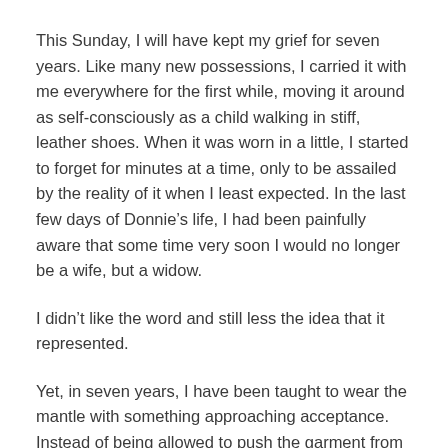This Sunday, I will have kept my grief for seven years. Like many new possessions, I carried it with me everywhere for the first while, moving it around as self-consciously as a child walking in stiff, leather shoes. When it was worn in a little, I started to forget for minutes at a time, only to be assailed by the reality of it when I least expected. In the last few days of Donnie's life, I had been painfully aware that some time very soon I would no longer be a wife, but a widow.
I didn't like the word and still less the idea that it represented.
Yet, in seven years, I have been taught to wear the mantle with something approaching acceptance. Instead of being allowed to push the garment from me, God has